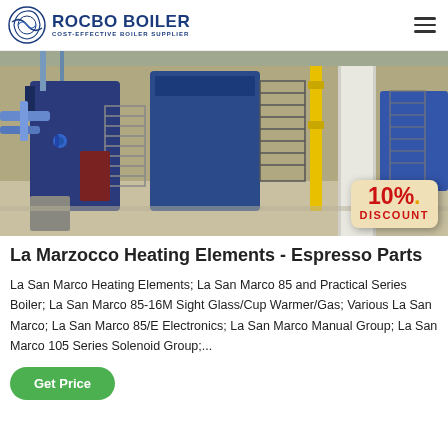ROCBO BOILER — COST-EFFECTIVE BOILER SUPPLIER
[Figure (photo): Industrial boiler room with large blue boiler units, metal staircases, yellow pipes, and concrete floor. A 10% DISCOUNT badge appears in the lower right corner.]
La Marzocco Heating Elements - Espresso Parts
La San Marco Heating Elements; La San Marco 85 and Practical Series Boiler; La San Marco 85-16M Sight Glass/Cup Warmer/Gas; Various La San Marco; La San Marco 85/E Electronics; La San Marco Manual Group; La San Marco 105 Series Solenoid Group;...